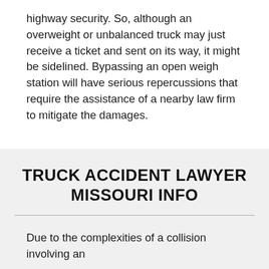highway security. So, although an overweight or unbalanced truck may just receive a ticket and sent on its way, it might be sidelined. Bypassing an open weigh station will have serious repercussions that require the assistance of a nearby law firm to mitigate the damages.
TRUCK ACCIDENT LAWYER MISSOURI INFO
Due to the complexities of a collision involving an